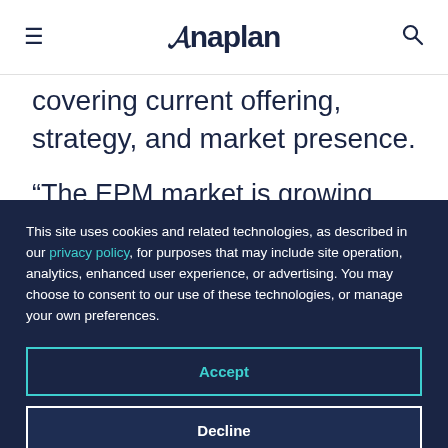Anaplan (navigation bar with hamburger menu and search icon)
covering current offering, strategy, and market presence.
“The EPM market is growing because business stakeholders see these solutions as ways to
This site uses cookies and related technologies, as described in our privacy policy, for purposes that may include site operation, analytics, enhanced user experience, or advertising. You may choose to consent to our use of these technologies, or manage your own preferences.
Accept
Decline
Manage settings